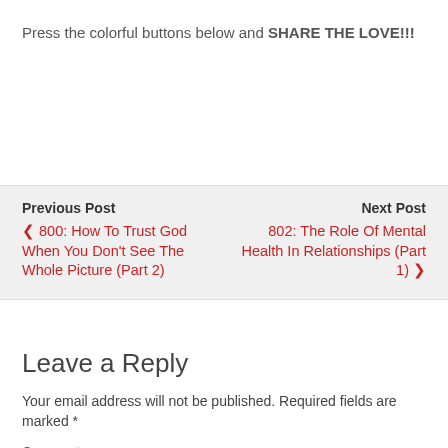Press the colorful buttons below and SHARE THE LOVE!!!
Previous Post
‹ 800: How To Trust God When You Don't See The Whole Picture (Part 2)
Next Post
802: The Role Of Mental Health In Relationships (Part 1) ›
Leave a Reply
Your email address will not be published. Required fields are marked *
Comment